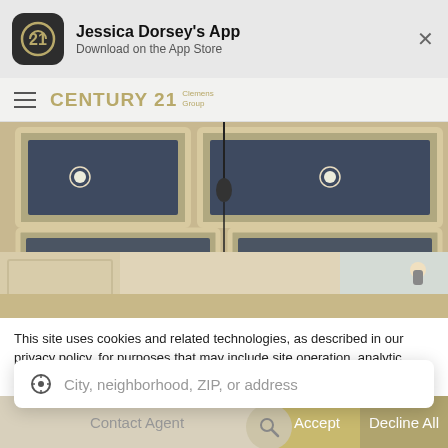Jessica Dorsey's App — Download on the App Store
[Figure (logo): Century 21 Clemens Group navigation bar logo with hamburger menu]
[Figure (photo): Interior room photo showing coffered ceiling with recessed lighting panels, pendant light fixture, white cabinetry]
This site uses cookies and related technologies, as described in our privacy policy, for purposes that may include site operation, analytics, enhanced user experience, or advertising. You may choose to consent to our use of these technologies, or manage your own preferences.
City, neighborhood, ZIP, or address
Contact Agent
Accept
Decline All